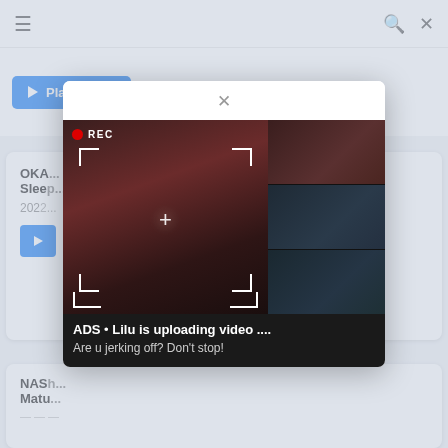≡  🔍  ✕
[Figure (screenshot): Blue Play Trailer button]
OKAY... Sleep
2022
[Figure (screenshot): Modal popup with adult advertisement image showing REC camera overlay and thumbnail grid. Ad text: ADS • Lilu is uploading video .... Are u jerking off? Don't stop!]
NASH... Matu...